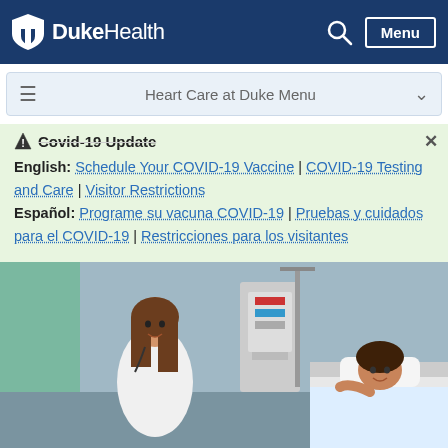DukeHealth — Menu
Heart Care at Duke Menu
Covid-19 Update
English: Schedule Your COVID-19 Vaccine | COVID-19 Testing and Care | Visitor Restrictions
Español: Programe su vacuna COVID-19 | Pruebas y cuidados para el COVID-19 | Restricciones para los visitantes
[Figure (photo): A female doctor in a white coat smiling and speaking with a female patient lying in a hospital bed, with medical equipment in the background.]